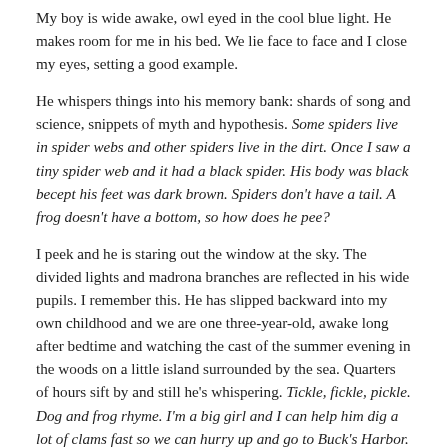My boy is wide awake, owl eyed in the cool blue light. He makes room for me in his bed. We lie face to face and I close my eyes, setting a good example.
He whispers things into his memory bank: shards of song and science, snippets of myth and hypothesis. Some spiders live in spider webs and other spiders live in the dirt. Once I saw a tiny spider web and it had a black spider. His body was black becept his feet was dark brown. Spiders don't have a tail. A frog doesn't have a bottom, so how does he pee?
I peek and he is staring out the window at the sky. The divided lights and madrona branches are reflected in his wide pupils. I remember this. He has slipped backward into my own childhood and we are one three-year-old, awake long after bedtime and watching the cast of the summer evening in the woods on a little island surrounded by the sea. Quarters of hours sift by and still he's whispering. Tickle, fickle, pickle. Dog and frog rhyme. I'm a big girl and I can help him dig a lot of clams fast so we can hurry up and go to Buck's Harbor. Every set of utterances is stoppered with his thumb.
An hour has passed when he surrenders, drifting gently into stillness and quiet. Mt. Baker is beginning to slough the abalone colors from its flanks